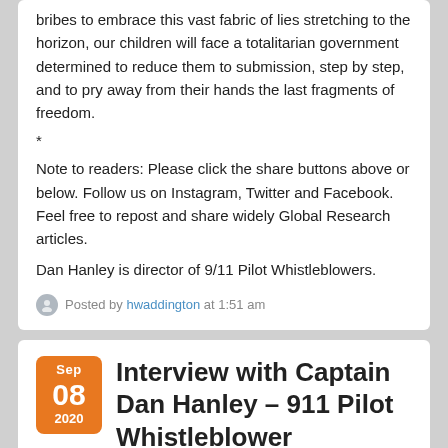bribes to embrace this vast fabric of lies stretching to the horizon, our children will face a totalitarian government determined to reduce them to submission, step by step, and to pry away from their hands the last fragments of freedom.
*
Note to readers: Please click the share buttons above or below. Follow us on Instagram, Twitter and Facebook. Feel free to repost and share widely Global Research articles.
Dan Hanley is director of 9/11 Pilot Whistleblowers.
Posted by hwaddington at 1:51 am
Interview with Captain Dan Hanley – 911 Pilot Whistleblower